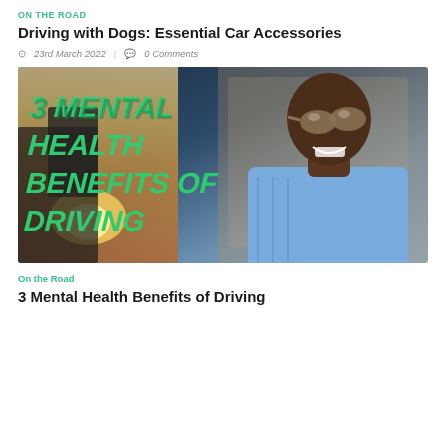ON THE ROAD
Driving with Dogs: Essential Car Accessories
23rd March 2022  |  0 Comments
[Figure (photo): Photo of a young man with sunglasses leaning back in a car, with text overlay reading '3 MENTAL HEALTH BENEFITS OF DRIVING' in green italic bold font against a sunset backdrop]
On the Road
3 Mental Health Benefits of Driving